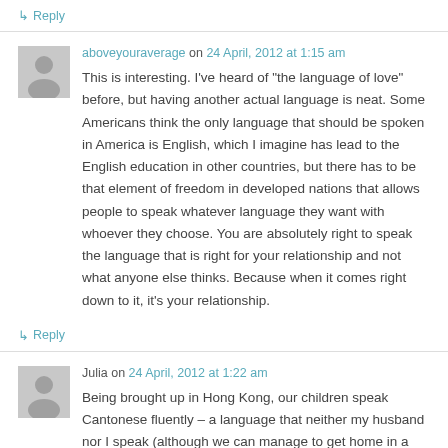↳ Reply
aboveyouraverage on 24 April, 2012 at 1:15 am
This is interesting. I've heard of "the language of love" before, but having another actual language is neat. Some Americans think the only language that should be spoken in America is English, which I imagine has lead to the English education in other countries, but there has to be that element of freedom in developed nations that allows people to speak whatever language they want with whoever they choose. You are absolutely right to speak the language that is right for your relationship and not what anyone else thinks. Because when it comes right down to it, it's your relationship.
↳ Reply
Julia on 24 April, 2012 at 1:22 am
Being brought up in Hong Kong, our children speak Cantonese fluently – a language that neither my husband nor I speak (although we can manage to get home in a taxi!).